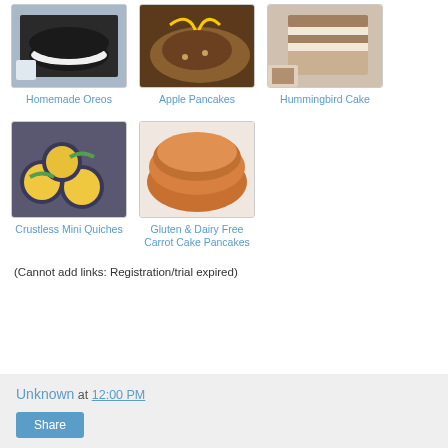[Figure (photo): Photo of homemade Oreo cookies stacked with a glass of milk]
Homemade Oreos
[Figure (photo): Photo of apple pancakes with syrup and nuts]
Apple Pancakes
[Figure (photo): Photo of a slice of Hummingbird Cake]
Hummingbird Cake
[Figure (photo): Photo of crustless mini quiches in a muffin tin with spinach]
Crustless Mini Quiches
[Figure (photo): Photo of gluten and dairy free carrot cake pancakes]
Gluten & Dairy Free
Carrot Cake Pancakes
(Cannot add links: Registration/trial expired)
Unknown at 12:00 PM
Share